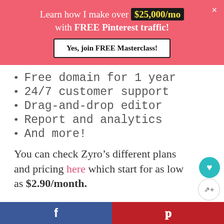Learn how I make over $25,000/mo with FREE Pinterest traffic!
Yes, join FREE Masterclass!
Free domain for 1 year
24/7 customer support
Drag-and-drop editor
Report and analytics
And more!
You can check Zyro’s different plans and pricing here which start for as low as $2.90/month.